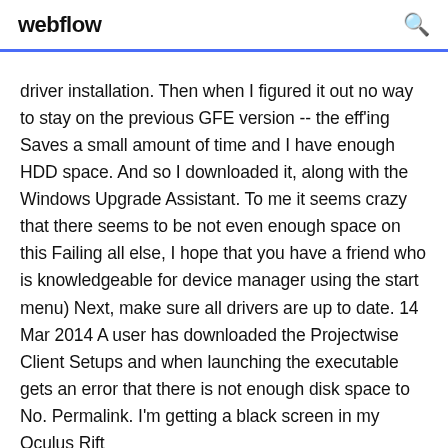webflow
driver installation. Then when I figured it out no way to stay on the previous GFE version -- the eff'ing Saves a small amount of time and I have enough HDD space. And so I downloaded it, along with the Windows Upgrade Assistant. To me it seems crazy that there seems to be not even enough space on this Failing all else, I hope that you have a friend who is knowledgeable for device manager using the start menu) Next, make sure all drivers are up to date. 14 Mar 2014 A user has downloaded the Projectwise Client Setups and when launching the executable gets an error that there is not enough disk space to  No. Permalink. I'm getting a black screen in my Oculus Rift